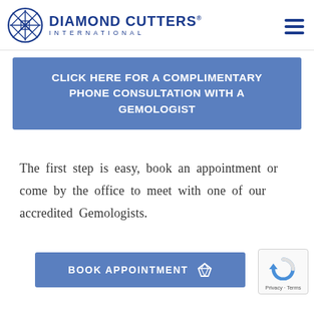Diamond Cutters International
CLICK HERE FOR A COMPLIMENTARY PHONE CONSULTATION WITH A GEMOLOGIST
The first step is easy, book an appointment or come by the office to meet with one of our accredited Gemologists.
BOOK APPOINTMENT